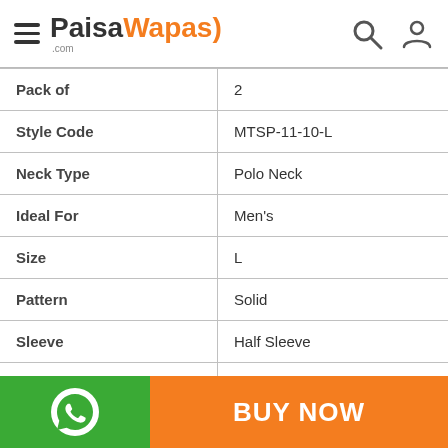PaisaWapas.com
| Attribute | Value |
| --- | --- |
| Pack of | 2 |
| Style Code | MTSP-11-10-L |
| Neck Type | Polo Neck |
| Ideal For | Men's |
| Size | L |
| Pattern | Solid |
| Sleeve | Half Sleeve |
| Suitable For | Western Wear |
| Brand Fit | Regular |
BUY NOW